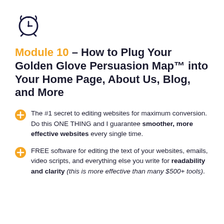[Figure (illustration): Clock/alarm icon in dark navy blue outline style]
Module 10 – How to Plug Your Golden Glove Persuasion Map™ into Your Home Page, About Us, Blog, and More
The #1 secret to editing websites for maximum conversion.  Do this ONE THING and I guarantee smoother, more effective websites every single time.
FREE software for editing the text of your websites, emails, video scripts, and everything else you write for readability and clarity (this is more effective than many $500+ tools).